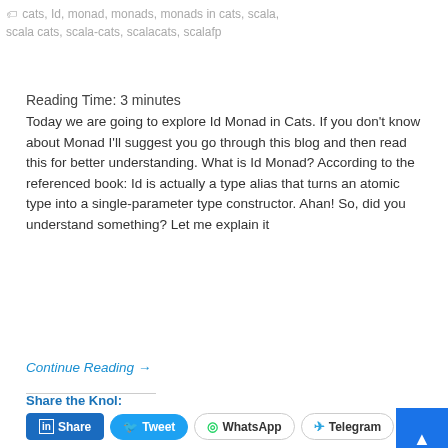🏷 cats, Id, monad, monads, monads in cats, scala, scala cats, scala-cats, scalacats, scalafp
Reading Time: 3 minutes
Today we are going to explore Id Monad in Cats. If you don't know about Monad I'll suggest you go through this blog and then read this for better understanding. What is Id Monad? According to the referenced book: Id is actually a type alias that turns an atomic type into a single-parameter type constructor. Ahan! So, did you understand something? Let me explain it
Continue Reading →
Share the Knol: